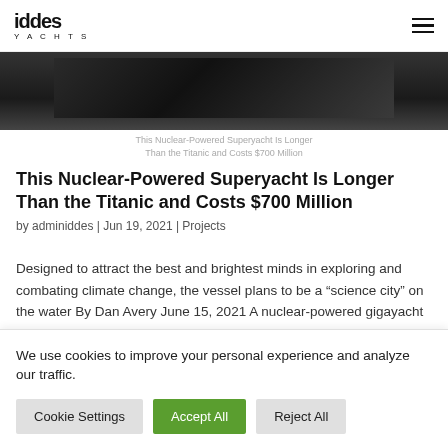iddes YACHTS
[Figure (photo): Dark-toned image of a superyacht, partially visible at top of page]
This Nuclear-Powered Superyacht Is Longer Than the Titanic and Costs $700 Million
This Nuclear-Powered Superyacht Is Longer Than the Titanic and Costs $700 Million
by adminiddes | Jun 19, 2021 | Projects
Designed to attract the best and brightest minds in exploring and combating climate change, the vessel plans to be a “science city” on the water By Dan Avery June 15, 2021 A nuclear-powered gigayacht longer than the Titanic
We use cookies to improve your personal experience and analyze our traffic.
Cookie Settings | Accept All | Reject All